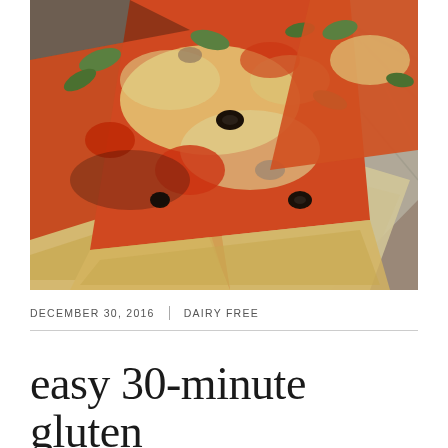[Figure (photo): Close-up photo of slices of gluten-free pizza topped with melted cheese, tomato sauce, green peppers, mushrooms, and black olives, placed on parchment paper with a wooden surface in the background.]
DECEMBER 30, 2016 | DAIRY FREE
easy 30-minute gluten